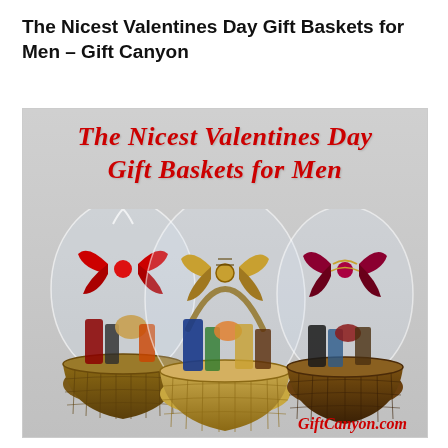The Nicest Valentines Day Gift Baskets for Men – Gift Canyon
[Figure (photo): Photo showing three decorative gift baskets wrapped in clear cellophane with ribbon bows — left basket has a red bow, center basket has a gold/plaid bow, right basket has a dark red/gold bow. All contain various food and gift items. Overlaid with red cursive text reading 'The Nicest Valentines Day Gift Baskets for Men' at the top, and 'GiftCanyon.com' in red italic at the bottom right.]